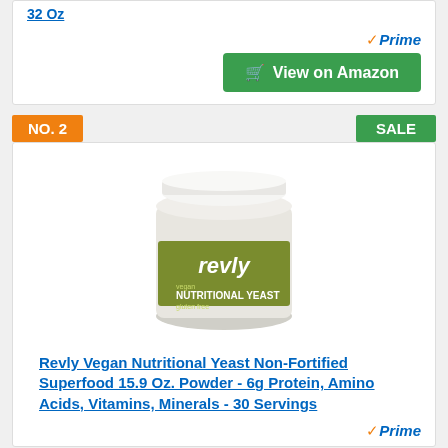32 Oz
[Figure (other): Amazon Prime badge and View on Amazon green button]
[Figure (other): NO. 2 orange badge on left, SALE green badge on right]
[Figure (photo): Revly brand Vegan Nutritional Yeast powder jar, white container with olive green label]
Revly Vegan Nutritional Yeast Non-Fortified Superfood 15.9 Oz. Powder - 6g Protein, Amino Acids, Vitamins, Minerals - 30 Servings
[Figure (other): Amazon Prime badge at bottom right]